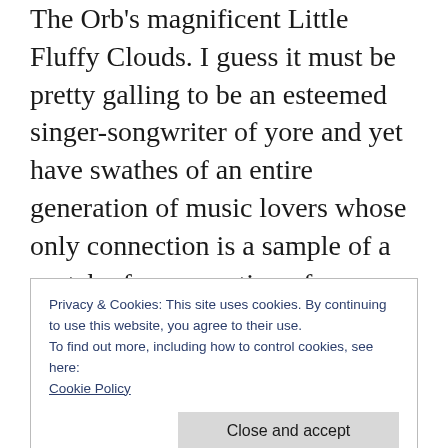The Orb's magnificent Little Fluffy Clouds. I guess it must be pretty galling to be an esteemed singer-songwriter of yore and yet have swathes of an entire generation of music lovers whose only connection is a sample of a snatch of conversation of a promotional CD for one of your albums, even if that sample becomes one of the most recognisible, iconic samples of all time! Of course, I also knew the song Chuck E's
Privacy & Cookies: This site uses cookies. By continuing to use this website, you agree to their use.
To find out more, including how to control cookies, see here:
Cookie Policy
first played Pirates. And I guess that by the